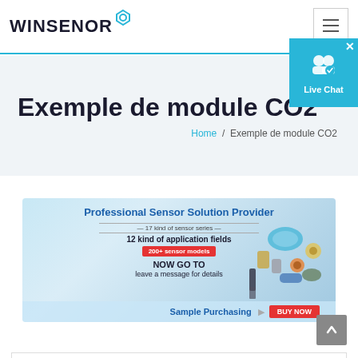WINSENOR
Exemple de module CO2
Home / Exemple de module CO2
[Figure (infographic): Winsenor Professional Sensor Solution Provider banner. Text: 17 kind of sensor series, 12 kind of application fields, 200+ sensor models, NOW GO TO leave a message for details. Bottom bar: Sample Purchasing — BUY NOW. Right side shows various sensor product images.]
[Figure (illustration): Live Chat button widget in cyan/blue with person icon and checkmark, with close X button]